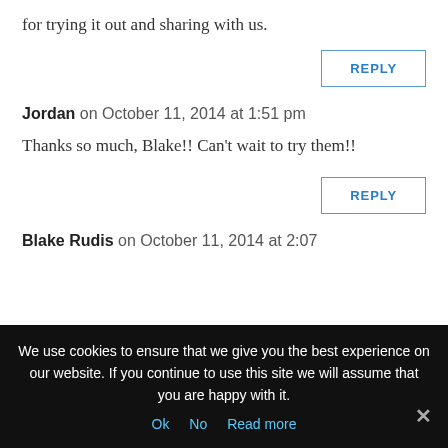for trying it out and sharing with us.
REPLY
Jordan on October 11, 2014 at 1:51 pm
Thanks so much, Blake!! Can't wait to try them!!
REPLY
Blake Rudis on October 11, 2014 at 2:07
We use cookies to ensure that we give you the best experience on our website. If you continue to use this site we will assume that you are happy with it.
Ok  No  Read more